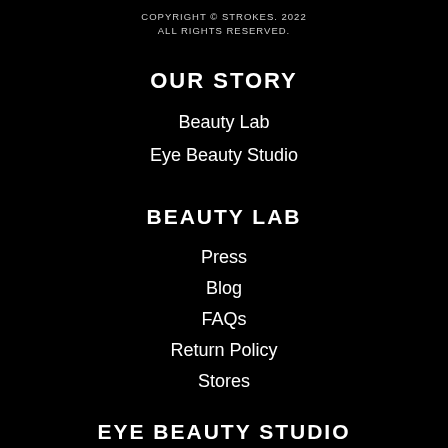COPYRIGHT © STROKES. 2022 ALL RIGHTS RESERVED.
OUR STORY
Beauty Lab
Eye Beauty Studio
BEAUTY LAB
Press
Blog
FAQs
Return Policy
Stores
EYE BEAUTY STUDIO